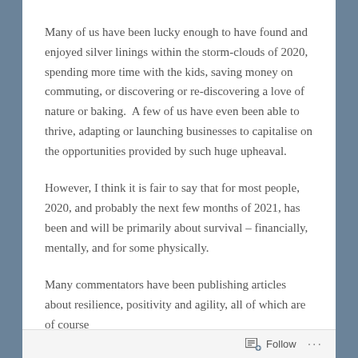Many of us have been lucky enough to have found and enjoyed silver linings within the storm-clouds of 2020, spending more time with the kids, saving money on commuting, or discovering or re-discovering a love of nature or baking.  A few of us have even been able to thrive, adapting or launching businesses to capitalise on the opportunities provided by such huge upheaval.
However, I think it is fair to say that for most people, 2020, and probably the next few months of 2021, has been and will be primarily about survival – financially, mentally, and for some physically.
Many commentators have been publishing articles about resilience, positivity and agility, all of which are of course
Follow ...